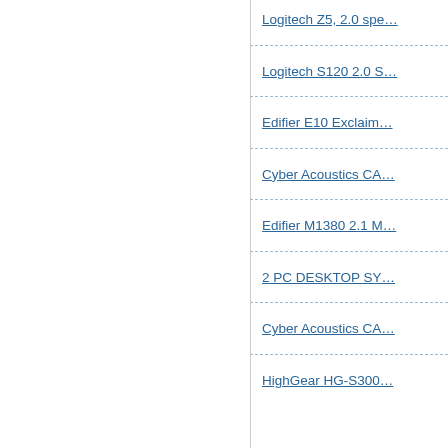Logitech Z5, 2.0 spe…
Logitech S120 2.0 S…
Edifier E10 Exclaim…
Cyber Acoustics CA…
Edifier M1380 2.1 M…
2 PC DESKTOP SY…
Cyber Acoustics CA…
HighGear HG-S300…